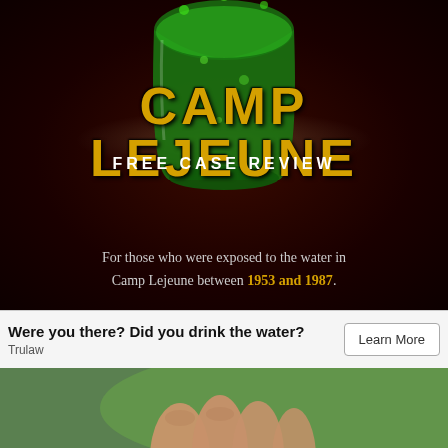[Figure (infographic): Dark red/black background with a glowing green liquid glass in the center, and large yellow distressed text reading CAMP LEJEUNE with FREE CASE REVIEW subtitle and exposed water warning text for 1953 and 1987]
CAMP LEJEUNE
FREE CASE REVIEW
For those who were exposed to the water in Camp Lejeune between 1953 and 1987.
Were you there? Did you drink the water?
Trulaw
Learn More
[Figure (photo): Close-up photo of human fingers/hand against a blurred green background]